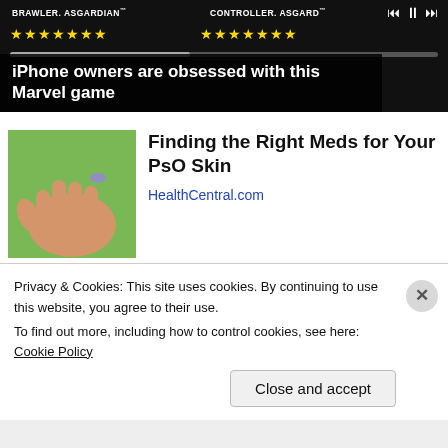[Figure (screenshot): Dark-themed game advertisement banner showing BRAWLER ASGARDIAN and CONTROLLER ASGARDIAN text with yellow star ratings and playback controls]
iPhone owners are obsessed with this Marvel game
[Figure (photo): Close-up photo of a hand with small object, green background — advertisement for PsO skin medication]
Finding the Right Meds for Your PsO Skin
HealthCentral.com
[Figure (photo): Photo of older man wearing a dark cowboy hat — advertisement for Classic Logo Quiz]
Almost Nobody Has Passed This Classic Logo Quiz
Privacy & Cookies: This site uses cookies. By continuing to use this website, you agree to their use.
To find out more, including how to control cookies, see here: Cookie Policy
Close and accept